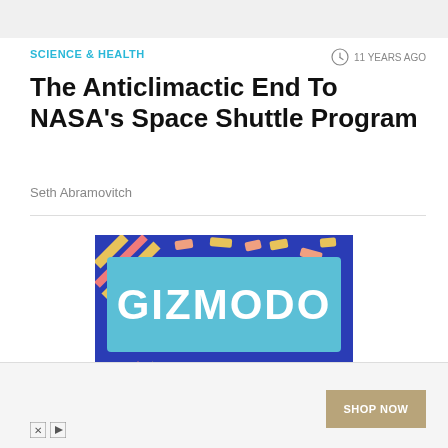SCIENCE & HEALTH
11 YEARS AGO
The Anticlimactic End To NASA's Space Shuttle Program
Seth Abramovitch
[Figure (illustration): Gizmodo advertisement banner with colorful geometric design, text reading GIZMODO, FOLLOW US ON TWITTER, CLICK HERE, on a blue background with pink, yellow and coral decorative elements]
Romero Distilling Co. A Premium Rum Experience SHOP NOW